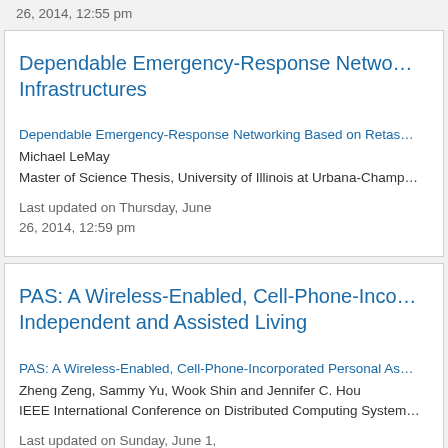26, 2014, 12:55 pm
Dependable Emergency-Response Networking Infrastructures
Dependable Emergency-Response Networking Based on Retas...
Michael LeMay
Master of Science Thesis, University of Illinois at Urbana-Champ...
Last updated on Thursday, June 26, 2014, 12:59 pm
PAS: A Wireless-Enabled, Cell-Phone-Inco... Independent and Assisted Living
PAS: A Wireless-Enabled, Cell-Phone-Incorporated Personal As...
Zheng Zeng, Sammy Yu, Wook Shin and Jennifer C. Hou
IEEE International Conference on Distributed Computing System...
Last updated on Sunday, June 1,